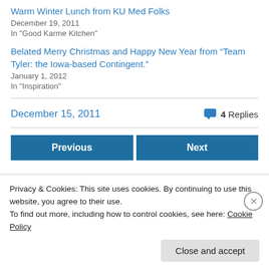Warm Winter Lunch from KU Med Folks
December 19, 2011
In "Good Karme Kitchen"
Belated Merry Christmas and Happy New Year from “Team Tyler: the Iowa-based Contingent.”
January 1, 2012
In "Inspiration"
December 15, 2011
4 Replies
Previous
Next
Privacy & Cookies: This site uses cookies. By continuing to use this website, you agree to their use.
To find out more, including how to control cookies, see here: Cookie Policy
Close and accept